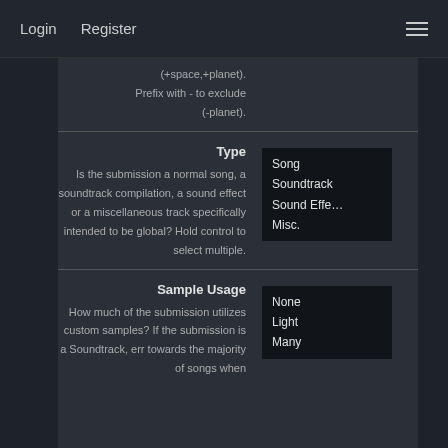Login   Register
(+space,+planet).
Prefix with - to exclude
(-planet).
Type
Is the submission a normal song, a soundtrack compilation, a sound effect or a miscellaneous track specifically intended to be global? Hold control to select multiple.
Song
Soundtrack
Sound Effect
Misc.
Sample Usage
How much of the submission utilizes custom samples? If the submission is a Soundtrack, err towards the majority of songs when
None
Light
Many